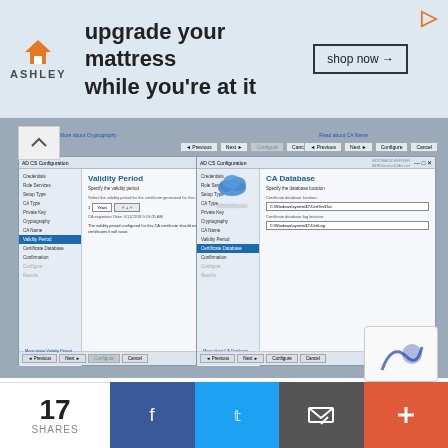[Figure (screenshot): Ashley Furniture advertisement banner: 'upgrade your mattress while you're at it' with 'shop now' button]
[Figure (screenshot): Two side-by-side Windows dialogs for AD CS Configuration showing Validity Period and CA Database configuration screens]
Configuration is in the last phase, on the Confirmation page verify settings for Active Directory Certificate Services, if anything is mis-configured you can go back to correct the settings, Press Configure button, In the Result if everything is good it shows all configuration succeeded.
[Figure (infographic): Social share bar with 17 SHARES count, Facebook, Twitter, Email, and plus buttons; reCAPTCHA widget partially visible]